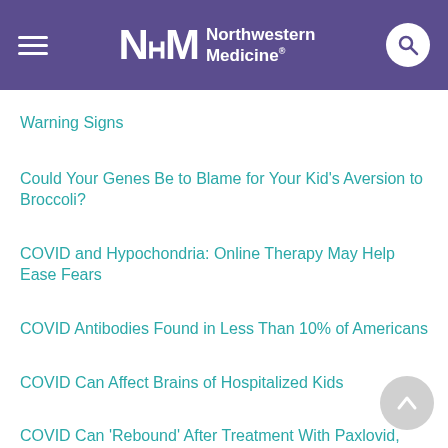Northwestern Medicine
Warning Signs
Could Your Genes Be to Blame for Your Kid's Aversion to Broccoli?
COVID and Hypochondria: Online Therapy May Help Ease Fears
COVID Antibodies Found in Less Than 10% of Americans
COVID Can Affect Brains of Hospitalized Kids
COVID Can 'Rebound' After Treatment With Paxlovid, CDC Says
COVID Caused Almost 1 Million Extra Deaths Across 29 Wealthy Countries
COVID Deaths Cluster in Poorly Vaccinated Communities